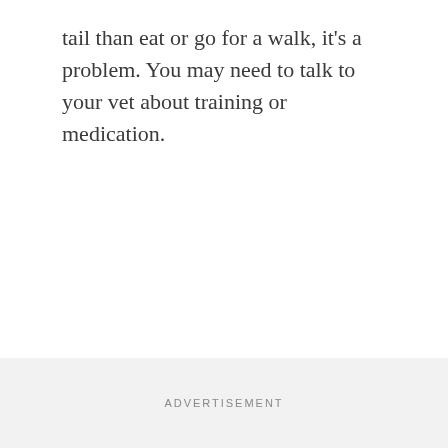tail than eat or go for a walk, it's a problem. You may need to talk to your vet about training or medication.
ADVERTISEMENT